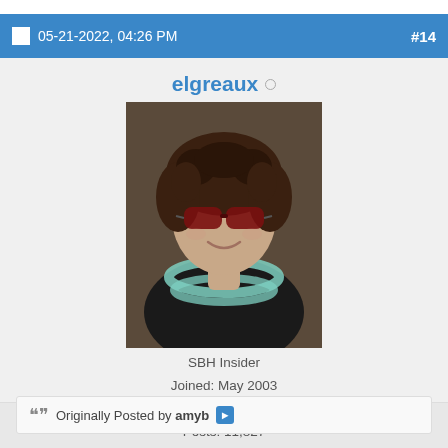05-21-2022, 04:26 PM   #14
elgreaux (offline)
[Figure (photo): Profile photo of user elgreaux: a woman with curly dark hair, large red/brown sunglasses, and a teal beaded necklace, wearing a dark top.]
SBH Insider
Joined: May 2003
Saint Barth
Posts: 11,827
Re: A new spot with an old name?
Originally Posted by amyb